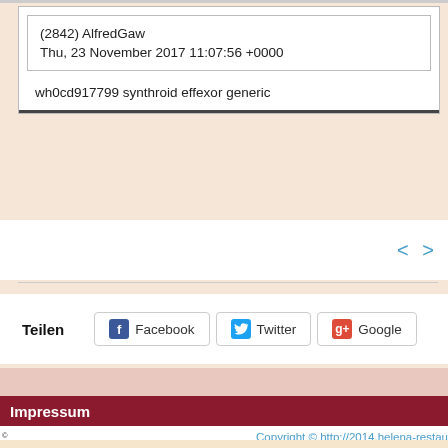(2842) AlfredGaw
Thu, 23 November 2017 11:07:56 +0000
wh0cd917799 synthroid effexor generic
< >
Teilen
Facebook  Twitter  Google
Impressum
Copyright © http://2014.helena-restau